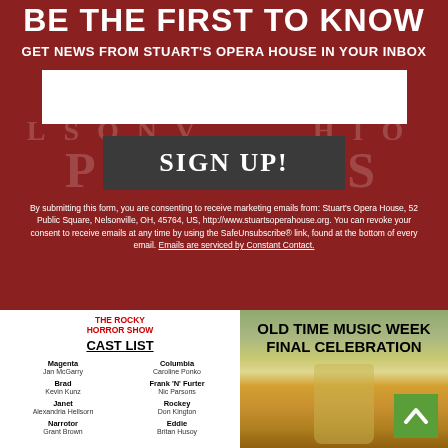BE THE FIRST TO KNOW
GET NEWS FROM STUART'S OPERA HOUSE IN YOUR INBOX
[Figure (other): Email input field (white rectangle)]
SIGN UP!
By submitting this form, you are consenting to receive marketing emails from: Stuart's Opera House, 52 Public Square, Nelsonville, OH, 45764, US, http://www.stuartsoperahouse.org. You can revoke your consent to receive emails at any time by using the SafeUnsubscribe® link, found at the bottom of every email. Emails are serviced by Constant Contact.
[Figure (other): The Rocky Horror Show logo in red text]
CAST LIST
Magenta - Jan McGarry
Columbia - Caroline Ponko
Brad - Kevin Kunz
Frank 'N' Furter - Nic Parsons
Janet - Alexandria Hellsorn
Rockey - Don Kington
Narrotor - Grant Brown
Eddie - Britan Husoy
[Figure (photo): Old Time Music Week Final Celebration promotional image with beer glass and outdoor background]